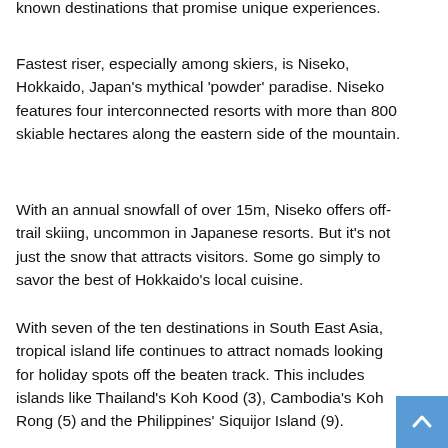known destinations that promise unique experiences.
Fastest riser, especially among skiers, is Niseko, Hokkaido, Japan's mythical 'powder' paradise. Niseko features four interconnected resorts with more than 800 skiable hectares along the eastern side of the mountain.
With an annual snowfall of over 15m, Niseko offers off-trail skiing, uncommon in Japanese resorts. But it's not just the snow that attracts visitors. Some go simply to savor the best of Hokkaido's local cuisine.
With seven of the ten destinations in South East Asia, tropical island life continues to attract nomads looking for holiday spots off the beaten track. This includes islands like Thailand's Koh Kood (3), Cambodia's Koh Rong (5) and the Philippines' Siquijor Island (9).